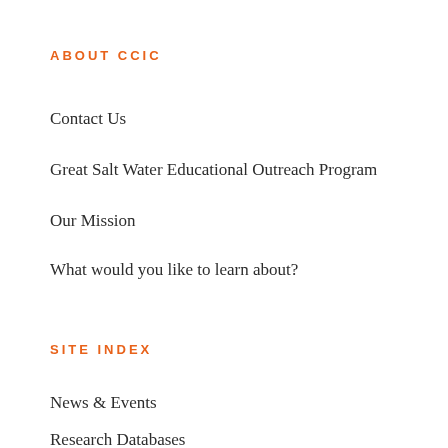ABOUT CCIC
Contact Us
Great Salt Water Educational Outreach Program
Our Mission
What would you like to learn about?
SITE INDEX
News & Events
Research Databases